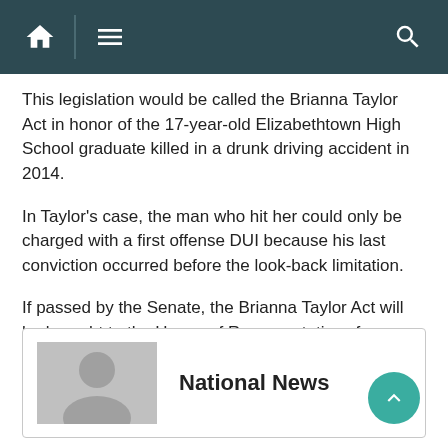Navigation bar with home, menu, and search icons
This legislation would be called the Brianna Taylor Act in honor of the 17-year-old Elizabethtown High School graduate killed in a drunk driving accident in 2014.
In Taylor's case, the man who hit her could only be charged with a first offense DUI because his last conviction occurred before the look-back limitation.
If passed by the Senate, the Brianna Taylor Act will be brought to the House of Representatives for further consideration.
National News